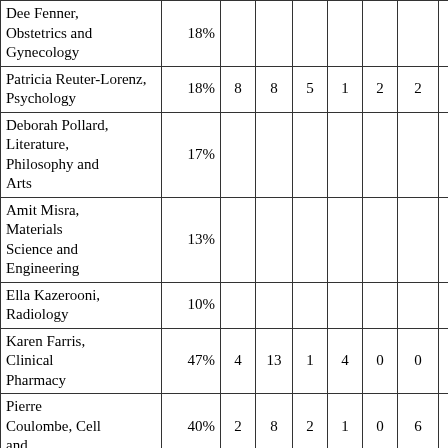| Dee Fenner, Obstetrics and Gynecology | 18% |  |  |  |  |  |  | 4.00 | 4. |
| Patricia Reuter-Lorenz, Psychology | 18% | 8 | 8 | 5 | 1 | 2 | 2 | 4.00 | 4. |
| Deborah Pollard, Literature, Philosophy and Arts | 17% |  |  |  |  |  |  | 4.00 | 4. |
| Amit Misra, Materials Science and Engineering | 13% |  |  |  |  |  |  | 4.00 | 4. |
| Ella Kazerooni, Radiology | 10% |  |  |  |  |  |  | 4.00 |  |
| Karen Farris, Clinical Pharmacy | 47% | 4 | 13 | 1 | 4 | 0 | 0 | 3.96 | 3. |
| Pierre Coulombe, Cell and | 40% | 2 | 8 | 2 | 1 | 0 | 6 | 3.94 | 4. |